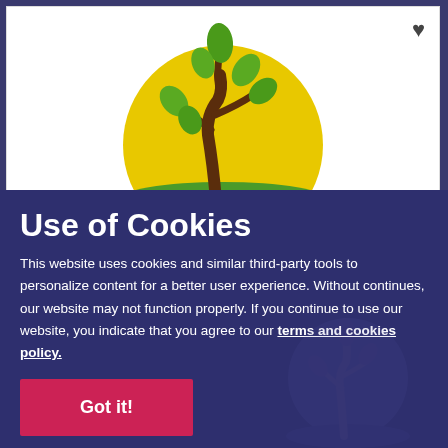[Figure (illustration): Stylized tree with green leaves growing from a yellow circular sun, with green grass at the base, on a white background card. A dark heart icon is in the top-right corner.]
Use of Cookies
This website uses cookies and similar third-party tools to personalize content for a better user experience. Without continues, our website may not function properly. If you continue to use our website, you indicate that you agree to our terms and cookies policy.
Got it!